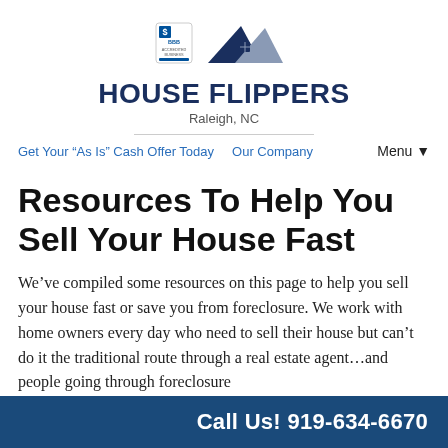[Figure (logo): House Flippers Raleigh NC logo with BBB badge and house roof graphic]
HOUSE FLIPPERS
Raleigh, NC
Get Your “As Is” Cash Offer Today   Our Company   Menu ▾
Resources To Help You Sell Your House Fast
We’ve compiled some resources on this page to help you sell your house fast or save you from foreclosure. We work with home owners every day who need to sell their house but can’t do it the traditional route through a real estate agent…and people going through foreclosure
Call Us! 919-634-6670